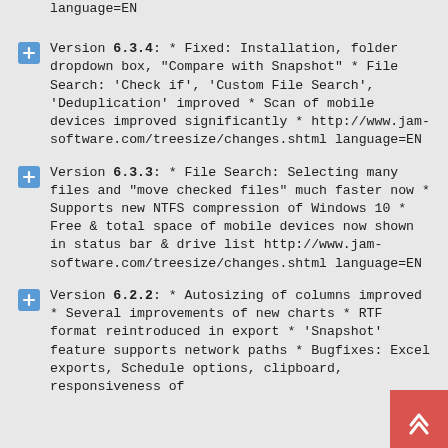language=EN
Version 6.3.4: * Fixed: Installation, folder dropdown box, "Compare with Snapshot" * File Search: 'Check if', 'Custom File Search', 'Deduplication' improved * Scan of mobile devices improved significantly * http://www.jam-software.com/treesize/changes.shtml language=EN
Version 6.3.3: * File Search: Selecting many files and "move checked files" much faster now * Supports new NTFS compression of Windows 10 * Free & total space of mobile devices now shown in status bar & drive list http://www.jam-software.com/treesize/changes.shtml language=EN
Version 6.2.2: * Autosizing of columns improved * Several improvements of new charts * RTF format reintroduced in export * 'Snapshot' feature supports network paths * Bugfixes: Excel exports, Schedule options, clipboard, responsiveness of